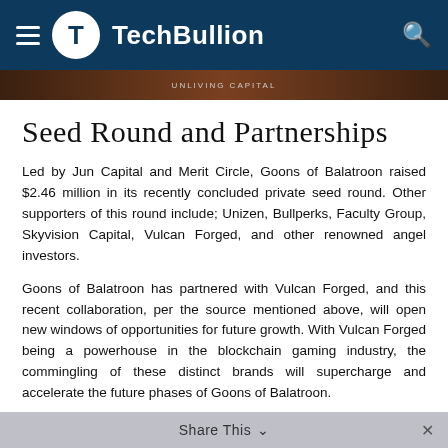TechBullion
[Figure (photo): Dark banner image with text 'UNLIVING CAPITAL' in the center]
Seed Round and Partnerships
Led by Jun Capital and Merit Circle, Goons of Balatroon raised $2.46 million in its recently concluded private seed round. Other supporters of this round include; Unizen, Bullperks, Faculty Group, Skyvision Capital, Vulcan Forged, and other renowned angel investors.
Goons of Balatroon has partnered with Vulcan Forged, and this recent collaboration, per the source mentioned above, will open new windows of opportunities for future growth. With Vulcan Forged being a powerhouse in the blockchain gaming industry, the commingling of these distinct brands will supercharge and accelerate the future phases of Goons of Balatroon.